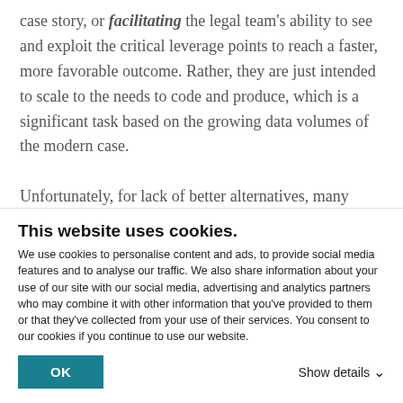case story, or facilitating the legal team's ability to see and exploit the critical leverage points to reach a faster, more favorable outcome. Rather, they are just intended to scale to the needs to code and produce, which is a significant task based on the growing data volumes of the modern case.

Unfortunately, for lack of better alternatives, many litigators find themselves forced to use a heads-down document coding tool for case analysis, deposition preparation and trial advocacy. As such, the frontline
This website uses cookies.
We use cookies to personalise content and ads, to provide social media features and to analyse our traffic. We also share information about your use of our site with our social media, advertising and analytics partners who may combine it with other information that you've provided to them or that they've collected from your use of their services. You consent to our cookies if you continue to use our website.